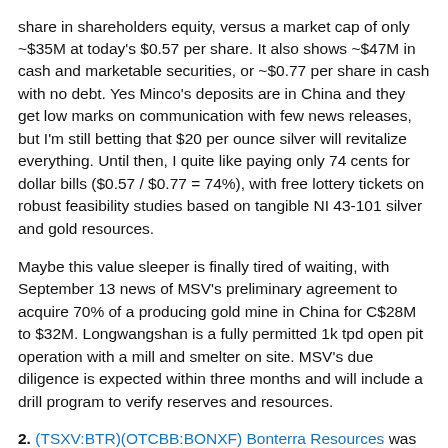share in shareholders equity, versus a market cap of only ~$35M at today's $0.57 per share. It also shows ~$47M in cash and marketable securities, or ~$0.77 per share in cash with no debt. Yes Minco's deposits are in China and they get low marks on communication with few news releases, but I'm still betting that $20 per ounce silver will revitalize everything. Until then, I quite like paying only 74 cents for dollar bills ($0.57 / $0.77 = 74%), with free lottery tickets on robust feasibility studies based on tangible NI 43-101 silver and gold resources.
Maybe this value sleeper is finally tired of waiting, with September 13 news of MSV's preliminary agreement to acquire 70% of a producing gold mine in China for C$28M to $32M. Longwangshan is a fully permitted 1k tpd open pit operation with a mill and smelter on site. MSV's due diligence is expected within three months and will include a drill program to verify reserves and resources.
2. (TSXV:BTR)(OTCBB:BONXF) Bonterra Resources was first profiled on April 4, 2017 at C$0.40. BTR raised ~C$65M since last year in private placements from $0.28 to $0.35 per unit. Major shareholders include Eric Sprott, Van Eck Funds